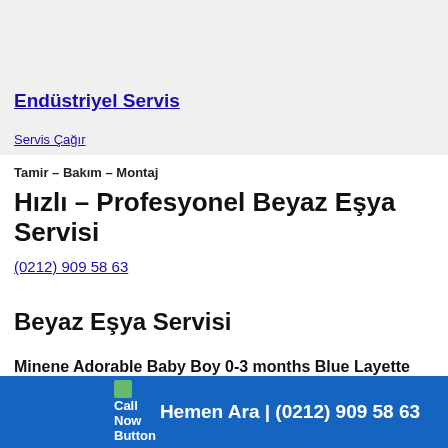Endüstriyel Servis
Servis Çağır
Tamir – Bakım – Montaj
Hızlı – Profesyonel Beyaz Eşya Servisi
(0212) 909 58 63
Beyaz Eşya Servisi
Minene Adorable Baby Boy 0-3 months Blue Layette
Call Now Button  Hemen Ara | (0212) 909 58 63